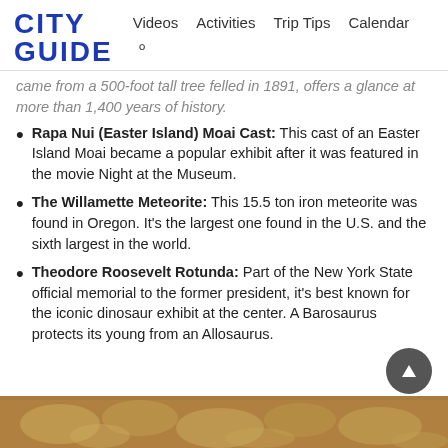CITY GUIDE  Videos  Activities  Trip Tips  Calendar
came from a 500-foot tall tree felled in 1891, offers a glance at more than 1,400 years of history.
Rapa Nui (Easter Island) Moai Cast: This cast of an Easter Island Moai became a popular exhibit after it was featured in the movie Night at the Museum.
The Willamette Meteorite: This 15.5 ton iron meteorite was found in Oregon. It's the largest one found in the U.S. and the sixth largest in the world.
Theodore Roosevelt Rotunda: Part of the New York State official memorial to the former president, it's best known for the iconic dinosaur exhibit at the center. A Barosaurus protects its young from an Allosaurus.
[Figure (photo): Bottom portion of a decorative ceiling or rotunda with ornate architectural details in warm golden tones]